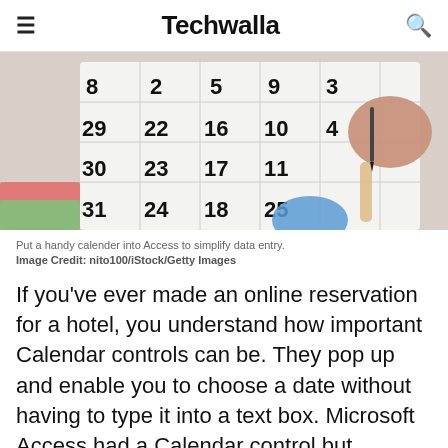Techwalla
[Figure (photo): A hand holding a pen over a physical calendar showing dates including 22, 23, 24, 25, 29, 30, 31, 16, 17, 18, 9, 10, 11, 5, 3, 4. Colorful papers visible at bottom left.]
Put a handy calender into Access to simplify data entry.
Image Credit: nito100/iStock/Getty Images
If you've ever made an online reservation for a hotel, you understand how important Calendar controls can be. They pop up and enable you to choose a date without having to type it into a text box. Microsoft Access had a Calendar control but Microsoft stopped supporting it in 2010. If you build Access forms that have Date fields, you can still help people add dates to